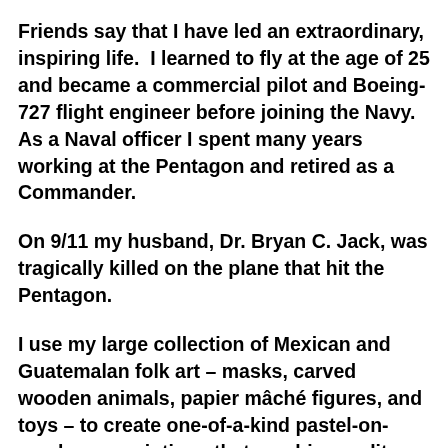Friends say that I have led an extraordinary, inspiring life.  I learned to fly at the age of 25 and became a commercial pilot and Boeing-727 flight engineer before joining the Navy. As a Naval officer I spent many years working at the Pentagon and retired as a Commander.
On 9/11 my husband, Dr. Bryan C. Jack, was tragically killed on the plane that hit the Pentagon.
I use my large collection of Mexican and Guatemalan folk art – masks, carved wooden animals, papier mâché figures, and toys – to create one-of-a-kind pastel-on-sandpaper paintings that combine reality and fantasy and depict personal narratives.   In 2017 I traveled to Bolivia where I became inspired to paint